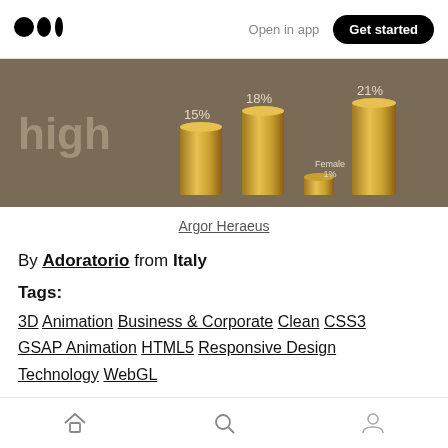Medium logo | Open in app | Get started
[Figure (photo): Partial screenshot of a bar chart with gold/metallic bars on a brown background, showing percentage labels 15%, 18%, 21% and a smaller bar labeled 1%. Partial text 'high' visible on left.]
Argor Heraeus
By Adoratorio from Italy
Tags:
3D Animation Business & Corporate Clean CSS3 GSAP Animation HTML5 Responsive Design Technology WebGL
7. Oh Happy Days
Home | Search | Profile